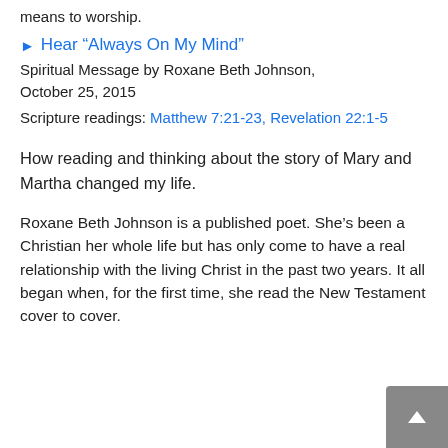means to worship.
► Hear “Always On My Mind”
Spiritual Message by Roxane Beth Johnson, October 25, 2015
Scripture readings: Matthew 7:21-23, Revelation 22:1-5
How reading and thinking about the story of Mary and Martha changed my life.
Roxane Beth Johnson is a published poet. She’s been a Christian her whole life but has only come to have a real relationship with the living Christ in the past two years. It all began when, for the first time, she read the New Testament cover to cover.